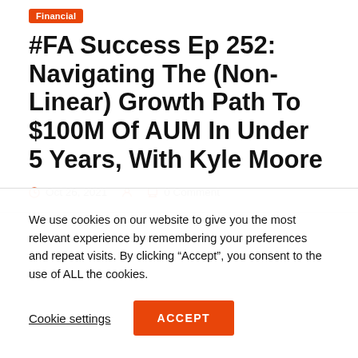Financial
#FA Success Ep 252: Navigating The (Non-Linear) Growth Path To $100M Of AUM In Under 5 Years, With Kyle Moore
Oct 26, 2021   0 Comment
We use cookies on our website to give you the most relevant experience by remembering your preferences and repeat visits. By clicking “Accept”, you consent to the use of ALL the cookies.
Cookie settings   ACCEPT